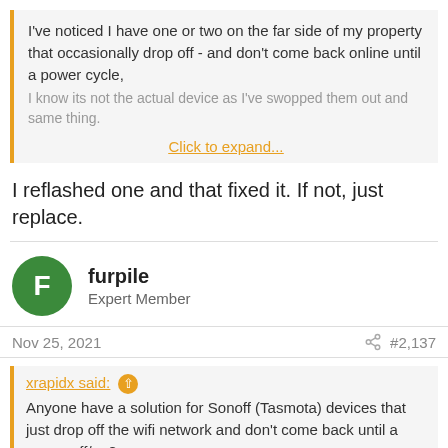I've noticed I have one or two on the far side of my property that occasionally drop off - and don't come back online until a power cycle, I know its not the actual device as I've swopped them out and same thing.
Click to expand...
I reflashed one and that fixed it. If not, just replace.
furpile
Expert Member
Nov 25, 2021
#2,137
xrapidx said:
Anyone have a solution for Sonoff (Tasmota) devices that just drop off the wifi network and don't come back until a power off/on?
I've noticed I have one or two on the far side of my property that occasionally drop off - and don't come back online until a power cycle, I know its not the actual device as I've swopped them out and same thing.